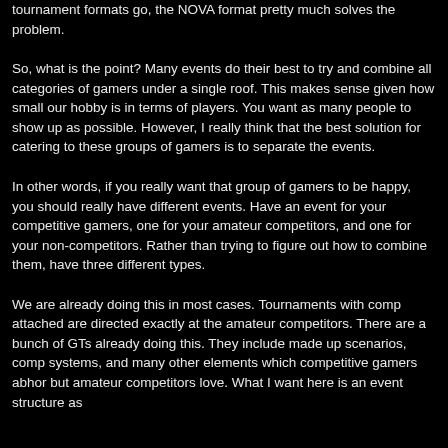tournament formats go, the NOVA format pretty much solves the problem.
So, what is the point? Many events do their best to try and combine all categories of gamers under a single roof. This makes sense given how small our hobby is in terms of players. You want as many people to show up as possible. However, I really think that the best solution for catering to these groups of gamers is to separate the events.
In other words, if you really want that group of gamers to be happy, you should really have different events. Have an event for your competitive gamers, one for your amateur competitors, and one for your non-competitors. Rather than trying to figure out how to combine them, have three different types.
We are already doing this in most cases. Tournaments with comp attached are directed exactly at the amateur competitors. There are a bunch of GTs already doing this. They include made up scenarios, comp systems, and many other elements which competitive gamers abhor but amateur competitors love. What I want here is an event structure as